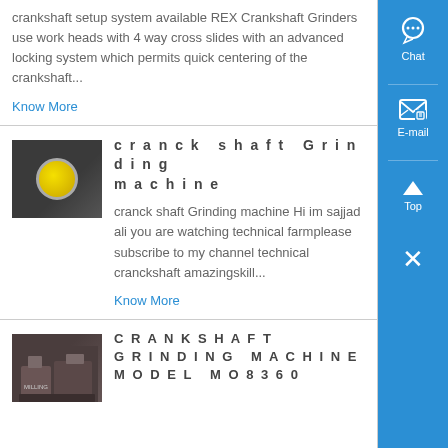crankshaft setup system available REX Crankshaft Grinders use work heads with 4 way cross slides with an advanced locking system which permits quick centering of the crankshaft...
Know More
cranck shaft Grinding machine
[Figure (photo): Close-up photo of a crankshaft grinding machine component with yellow circular element on dark metal surface]
cranck shaft Grinding machine Hi im sajjad ali you are watching technical farmplease subscribe to my channel technical cranckshaft amazingskill...
Know More
CRANKSHAFT GRINDING MACHINE MODEL MO8360
[Figure (photo): Photo of a large industrial crankshaft grinding machine]
Chat
E-mail
Top